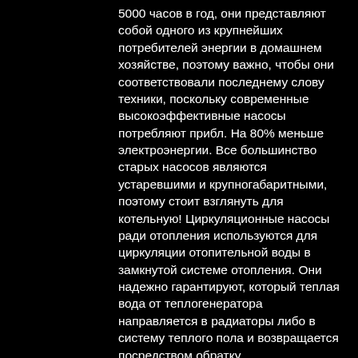5000 часов в год, они представляют собой одного из крупнейших потребителей энергии в домашнем хозяйстве, поэтому важно, чтобы они соответствовали последнему слову техники, поскольку современные высокоэффективные насосы потребляют прибл. На 80% меньше электроэнергии. Все большинство старых насосов являются устаревшими и крупногабаритными, поэтому стоит взглянуть для котельную! Циркуляционные насосы ради отопления используются для циркуляции отопительной воды в замкнутой системе отопления. Они надежно гарантируют, который теплая вода от теплогенератора направляется в радиаторы либо в систему теплого пола и возвращается посредством обратку. Циркуляционный насос принужден исключительно